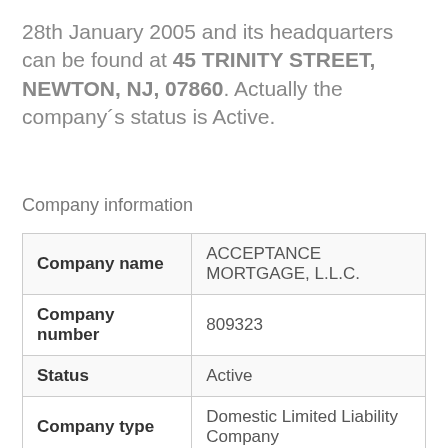28th January 2005 and its headquarters can be found at 45 TRINITY STREET, NEWTON, NJ, 07860. Actually the company´s status is Active.
Company information
|  |  |
| --- | --- |
| Company name | ACCEPTANCE MORTGAGE, L.L.C. |
| Company number | 809323 |
| Status | Active |
| Company type | Domestic Limited Liability Company |